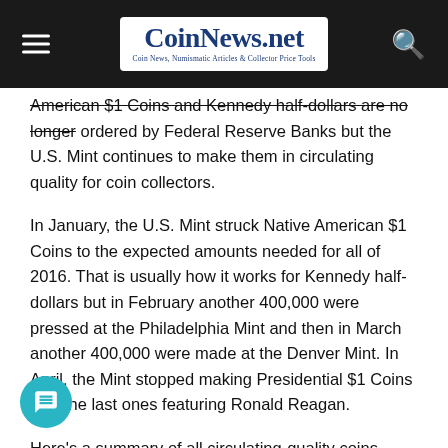CoinNews.net — Coin News, Numismatic Articles & Collector Price Tools
American $1 Coins and Kennedy half-dollars are no longer ordered by Federal Reserve Banks but the U.S. Mint continues to make them in circulating quality for coin collectors.
In January, the U.S. Mint struck Native American $1 Coins to the expected amounts needed for all of 2016. That is usually how it works for Kennedy half-dollars but in February another 400,000 were pressed at the Philadelphia Mint and then in March another 400,000 were made at the Denver Mint. In April, the Mint stopped making Presidential $1 Coins with the last ones featuring Ronald Reagan.
Here's a summary of all circulating-quality coins produced month: